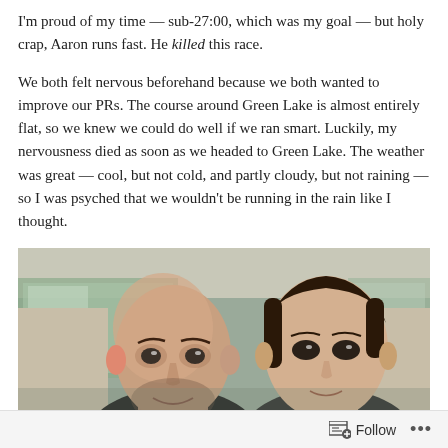I'm proud of my time — sub-27:00, which was my goal — but holy crap, Aaron runs fast. He killed this race.
We both felt nervous beforehand because we both wanted to improve our PRs. The course around Green Lake is almost entirely flat, so we knew we could do well if we ran smart. Luckily, my nervousness died as soon as we headed to Green Lake. The weather was great — cool, but not cold, and partly cloudy, but not raining — so I was psyched that we wouldn't be running in the rain like I thought.
[Figure (photo): A selfie photo of two people sitting in a car — a bald man with a beard on the left and a woman with her hair pulled back on the right. The car interior is light beige/tan colored. Trees and outdoor scenery are visible through the windows.]
Follow ...